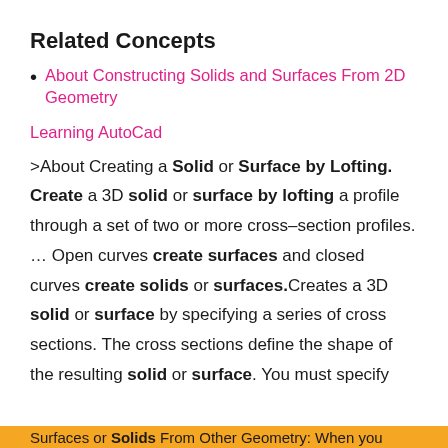Related Concepts
About Constructing Solids and Surfaces From 2D Geometry
Learning AutoCad
>About Creating a Solid or Surface by Lofting. Create a 3D solid or surface by lofting a profile through a set of two or more cross–section profiles. … Open curves create surfaces and closed curves create solids or surfaces.Creates a 3D solid or surface by specifying a series of cross sections. The cross sections define the shape of the resulting solid or surface. You must specify
Surfaces or Solids From Other Geometry: When you